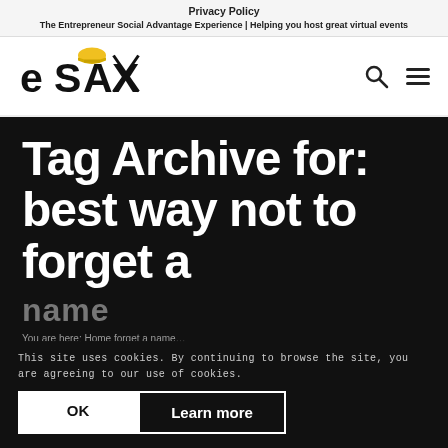Privacy Policy
The Entrepreneur Social Advantage Experience | Helping you host great virtual events
[Figure (logo): eSAX logo — stylized text with hard hat and crossed tools]
Tag Archive for: best way not to forget a
name
You are here: Home forget a name…
This site uses cookies. By continuing to browse the site, you are agreeing to our use of cookies.